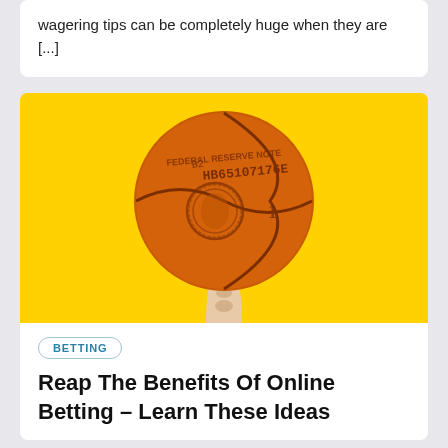wagering tips can be completely huge when they are [...]
[Figure (illustration): A hand balancing a basketball styled as an orange dollar bill on one finger, set against a bright yellow background.]
BETTING
Reap The Benefits Of Online Betting – Learn These Ideas